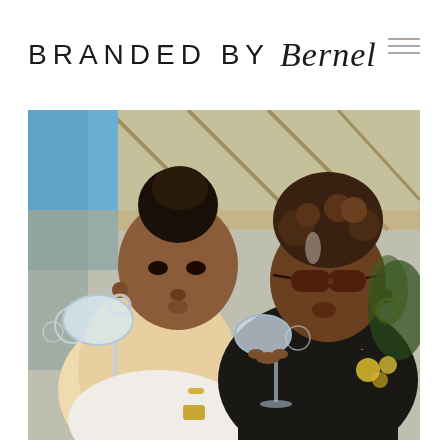BRANDED BY Bernel
[Figure (photo): Two Black women outdoors at what appears to be a rooftop or patio venue, both holding wine glasses and blowing through the glasses playfully. The woman on the left wears a white top and has her natural hair in a bun, wearing hoop earrings. The woman on the right wears sunglasses, a black cardigan, hoop earrings, and gold necklaces. Background shows a beige awning canopy and blue sky.]